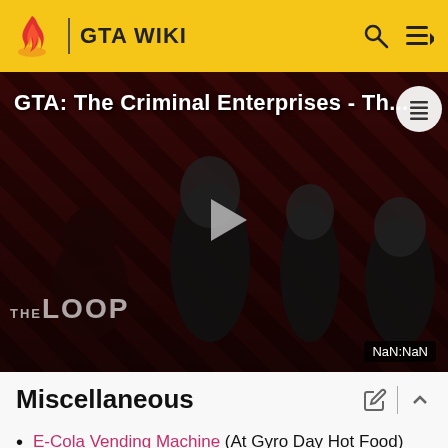GTA WIKI
[Figure (screenshot): GTA: The Criminal Enterprises - Th... video thumbnail showing characters on a red striped background with a play button, THE LOOP logo, and NaN:NaN time indicator]
Miscellaneous
E-Cola Vending Machine (At Gyro Day Hot Food)
Mission Appearances